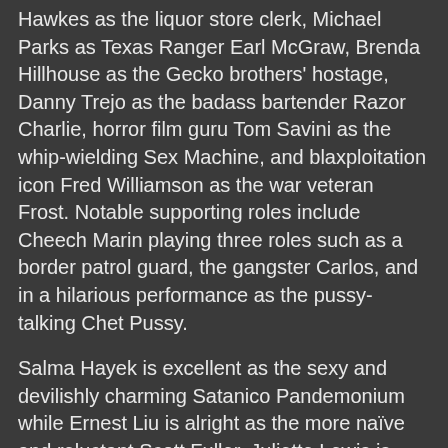Hawkes as the liquor store clerk, Michael Parks as Texas Ranger Earl McGraw, Brenda Hillhouse as the Gecko brothers' hostage, Danny Trejo as the badass bartender Razor Charlie, horror film guru Tom Savini as the whip-wielding Sex Machine, and blaxploitation icon Fred Williamson as the war veteran Frost. Notable supporting roles include Cheech Marin playing three roles such as a border patrol guard, the gangster Carlos, and in a hilarious performance as the pussy-talking Chet Pussy.
Salma Hayek is excellent as the sexy and devilishly charming Satanico Pandemonium while Ernest Liu is alright as the more naïve and reluctant Scott Fuller. Juliette Lewis is terrific as Kate who starts off as a reluctant friend of the Gecko brothers to becoming a full-fledge badass. Quentin Tarantino is very good as Richard Gecko who often has these strange fantasies about what women says to him while dealing with a wounded hand. Harvey Keitel is great as the conflicted Jacob Fuller who tries to deal with his own issues while helping out the Gecko brothers fight off the vampires. Finally, there's George Clooney in a brilliant performance as the cool Seth Gecko who leads the way against the vampires